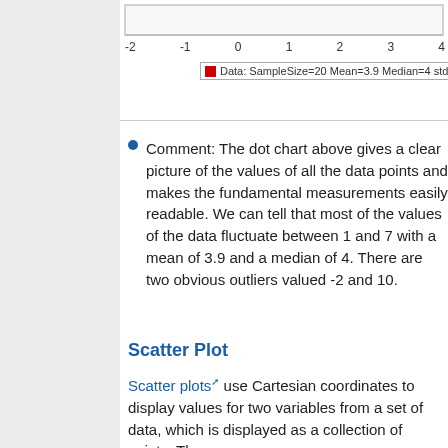[Figure (continuous-plot): Bottom portion of a dot chart (strip chart) showing data distribution. X-axis labels visible: -2, -1, 0, 1, 2, 3, 4. Legend reads: Data: SampleSize=20 Mean=3.9 Median=4 stdDev=2...]
Comment: The dot chart above gives a clear picture of the values of all the data points and makes the fundamental measurements easily readable. We can tell that most of the values of the data fluctuate between 1 and 7 with a mean of 3.9 and a median of 4. There are two obvious outliers valued -2 and 10.
Scatter Plot
Scatter plots use Cartesian coordinates to display values for two variables from a set of data, which is displayed as a collection of points. The